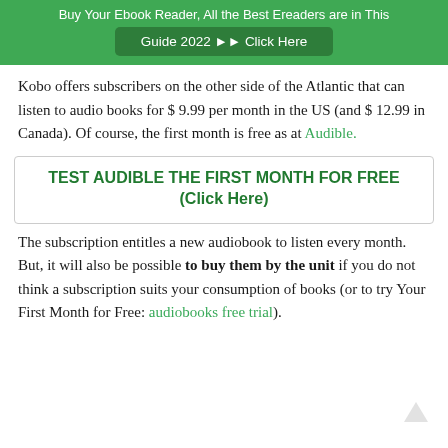Buy Your Ebook Reader, All the Best Ereaders are in This Guide 2022 ►► Click Here
Kobo offers subscribers on the other side of the Atlantic that can listen to audio books for $ 9.99 per month in the US (and $ 12.99 in Canada). Of course, the first month is free as at Audible.
TEST AUDIBLE THE FIRST MONTH FOR FREE (Click Here)
The subscription entitles a new audiobook to listen every month. But, it will also be possible to buy them by the unit if you do not think a subscription suits your consumption of books (or to try Your First Month for Free: audiobooks free trial).